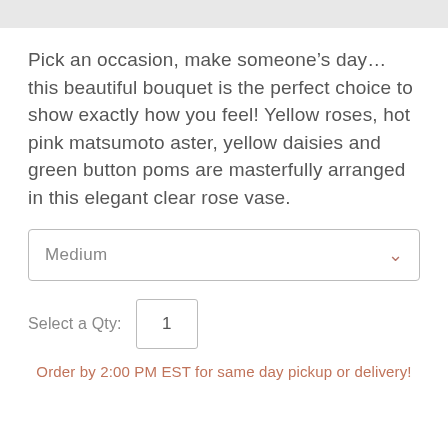Pick an occasion, make someone's day... this beautiful bouquet is the perfect choice to show exactly how you feel! Yellow roses, hot pink matsumoto aster, yellow daisies and green button poms are masterfully arranged in this elegant clear rose vase.
Medium
Select a Qty: 1
Order by 2:00 PM EST for same day pickup or delivery!